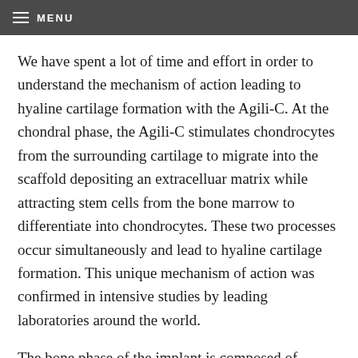MENU
We have spent a lot of time and effort in order to understand the mechanism of action leading to hyaline cartilage formation with the Agili-C. At the chondral phase, the Agili-C stimulates chondrocytes from the surrounding cartilage to migrate into the scaffold depositing an extracelluar matrix while attracting stem cells from the bone marrow to differentiate into chondrocytes. These two processes occur simultaneously and lead to hyaline cartilage formation. This unique mechanism of action was confirmed in intensive studies by leading laboratories around the world.
The bone phase of the implant is composed of aragonite, whereas the cartilage phase has a modified 3-D structure composed of an aragonite-hyalurante composite that stimulates cartilage formation.